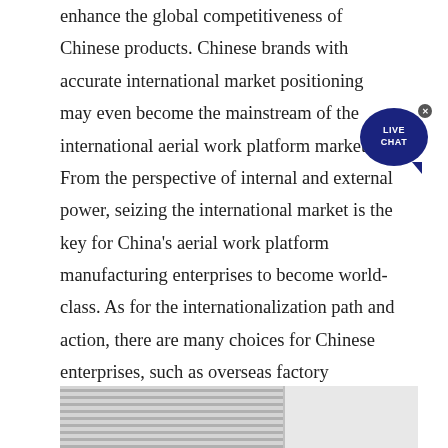enhance the global competitiveness of Chinese products. Chinese brands with accurate international market positioning may even become the mainstream of the international aerial work platform market. From the perspective of internal and external power, seizing the international market is the key for China's aerial work platform manufacturing enterprises to become world-class. As for the internationalization path and action, there are many choices for Chinese enterprises, such as overseas factory construction, cross-border M & A, increasing the layout of marketing network and building localization teams.
[Figure (photo): Partial view of a black and white photograph showing horizontal striped structures on the left and vertical panels on the right, appears to be industrial or architectural equipment.]